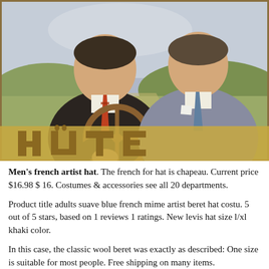[Figure (illustration): Vintage painting/poster showing two men in suits in a car, with the word HŰTE in large golden letters at the bottom. A landscape is visible in the background.]
Men's french artist hat. The french for hat is chapeau. Current price $16.98 $ 16. Costumes & accessories see all 20 departments.
Product title adults suave blue french mime artist beret hat costu. 5 out of 5 stars, based on 1 reviews 1 ratings. New levis hat size l/xl khaki color.
In this case, the classic wool beret was exactly as described: One size is suitable for most people. Free shipping on many items.
Uxcell men's striped t shirt crew neck long sleeve casual cotton pullover tee top 4.5 out of 5 stars 329. Get the best deals on men's beret hats when you shop the largest online selection at ebay.com. Often ignored,